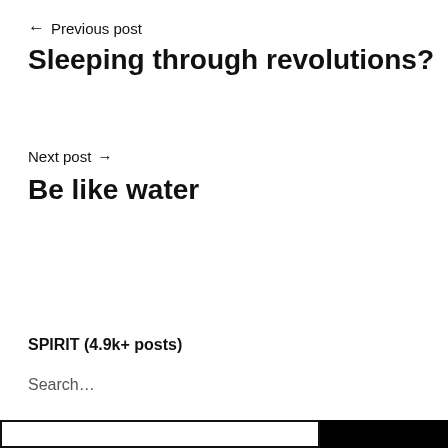← Previous post
Sleeping through revolutions?
Next post →
Be like water
SPIRIT (4.9k+ posts)
Search…